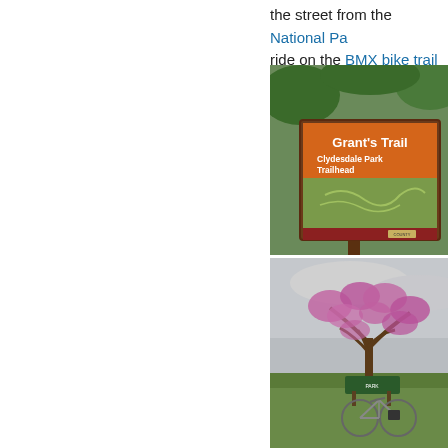the street from the National Pa… ride on the BMX bike trail at ne…
[Figure (photo): Grant's Trail Clydesdale Park Trailhead sign on a brown wooden post]
[Figure (photo): Partial view of a Grant's Farm sign]
[Figure (photo): Redbud tree in bloom with a bicycle leaning against a park sign, overcast sky and green lawn]
[Figure (photo): Partial outdoor scene with green field and path]
[Figure (photo): Partial bottom image, outdoor nature scene]